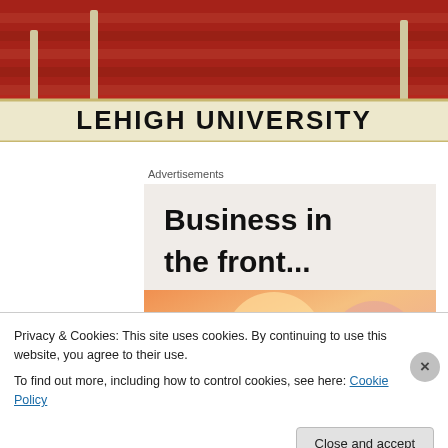[Figure (photo): Photo of Lehigh University hurdle/barrier with red stadium bleachers in background, text reads LEHIGH UNIVERSITY on the white bar]
Advertisements
[Figure (screenshot): WordPress advertisement: top half reads 'Business in the front...' on light beige background; bottom half reads 'WordPress in the back.' on orange/pink gradient with decorative circles]
Privacy & Cookies: This site uses cookies. By continuing to use this website, you agree to their use.
To find out more, including how to control cookies, see here: Cookie Policy
Close and accept